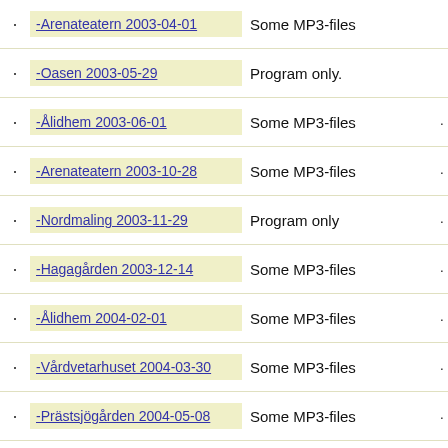-Arenateatern 2003-04-01 | Some MP3-files
-Oasen 2003-05-29 | Program only.
-Ålidhem 2003-06-01 | Some MP3-files
-Arenateatern 2003-10-28 | Some MP3-files
-Nordmaling 2003-11-29 | Program only
-Hagagården 2003-12-14 | Some MP3-files
-Ålidhem 2004-02-01 | Some MP3-files
-Vårdvetarhuset 2004-03-30 | Some MP3-files
-Prästsjögården 2004-05-08 | Some MP3-files
-Vindeln 2004-05-11 | Program only
-Ålidhem 2004-06-01 | Some MP3-files
-Arenateatern (partial)